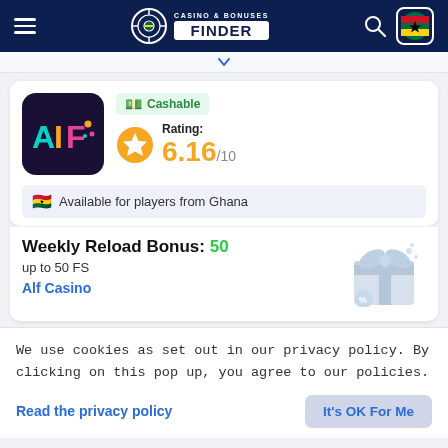CASINO & BONUSES FINDER
[Figure (logo): Casino & Bonuses Finder logo with target icon and Ghana flag, on dark navy header bar]
[Figure (logo): Alf Casino logo — dark purple square with 'AIF' text in colorful letters]
Cashable
Rating: 6.16/10
Available for players from Ghana
Weekly Reload Bonus: 50 up to 50 FS
Alf Casino
We use cookies as set out in our privacy policy. By clicking on this pop up, you agree to our policies.
Read the privacy policy
It's OK For Me